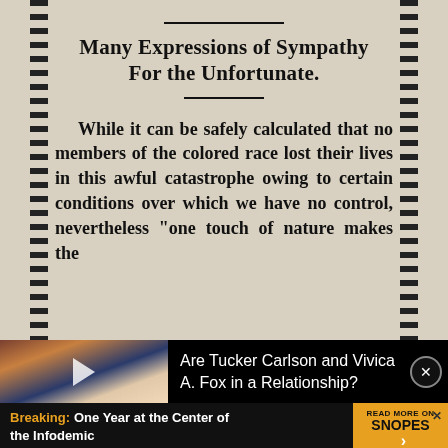Many Expressions of Sympathy For the Unfortunate.
While it can be safely calculated that no members of the colored race lost their lives in this awful catastrophe owing to certain conditions over which we have no control, nevertheless “one touch of nature makes the
[Figure (photo): Advertisement overlay showing two people (a Black woman and a white man) with a play button, alongside text: Are Tucker Carlson and Vivica A. Fox in a Relationship? with a close button.]
Are Tucker Carlson and Vivica A. Fox in a Relationship?
[Figure (screenshot): Bottom banner advertisement: Breaking: One Year at the Center of the Infodemic — READ MORE ON SNOPES with arrow button.]